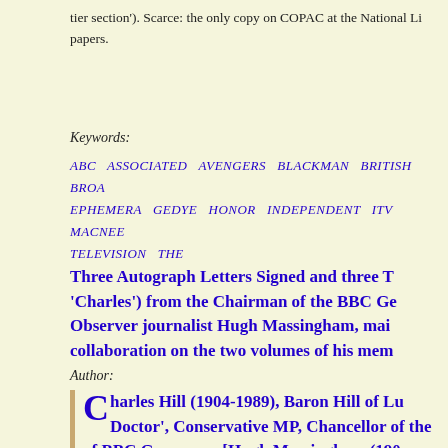tier section'). Scarce: the only copy on COPAC at the National Li papers.
Keywords:
ABC ASSOCIATED AVENGERS BLACKMAN BRITISH BROA EPHEMERA GEDYE HONOR INDEPENDENT ITV MACNEE TELEVISION THE
Three Autograph Letters Signed and three T 'Charles') from the Chairman of the BBC Ge Observer journalist Hugh Massingham, mai collaboration on the two volumes of his mem
Author:
Charles Hill (1904-1989), Baron Hill of Lu Doctor', Conservative MP, Chancellor of the of BBC Governors [Hugh Massingham (190